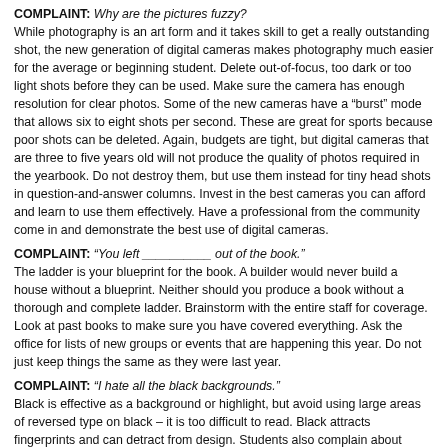COMPLAINT: Why are the pictures fuzzy? While photography is an art form and it takes skill to get a really outstanding shot, the new generation of digital cameras makes photography much easier for the average or beginning student. Delete out-of-focus, too dark or too light shots before they can be used. Make sure the camera has enough resolution for clear photos. Some of the new cameras have a “burst” mode that allows six to eight shots per second. These are great for sports because poor shots can be deleted. Again, budgets are tight, but digital cameras that are three to five years old will not produce the quality of photos required in the yearbook. Do not destroy them, but use them instead for tiny head shots in question-and-answer columns. Invest in the best cameras you can afford and learn to use them effectively. Have a professional from the community come in and demonstrate the best use of digital cameras.
COMPLAINT: “You left __________ out of the book.” The ladder is your blueprint for the book. A builder would never build a house without a blueprint. Neither should you produce a book without a thorough and complete ladder. Brainstorm with the entire staff for coverage. Look at past books to make sure you have covered everything. Ask the office for lists of new groups or events that are happening this year. Do not just keep things the same as they were last year.
COMPLAINT: “I hate all the black backgrounds.” Black is effective as a background or highlight, but avoid using large areas of reversed type on black – it is too difficult to read. Black attracts fingerprints and can detract from design. Students also complain about black backgrounds because it limits places for autographs from their friends.
COMPLAINT: “The academic section is boring. Why do we even have it?”